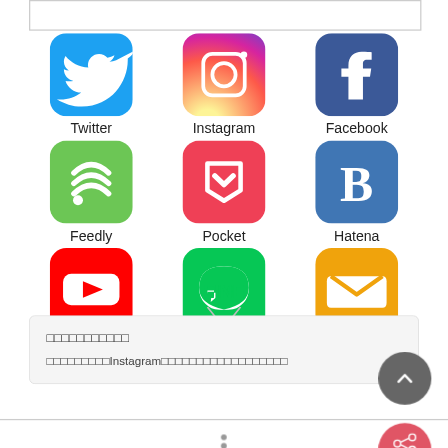[Figure (screenshot): Social media icon grid showing Twitter, Instagram, Facebook, Feedly, Pocket, Hatena, YouTube, LINE, and Contact icons in a 3x3 layout]
□□□□□□□□□□□
□□□□□□□□□Instagram□□□□□□□□□□□□□□□□□□